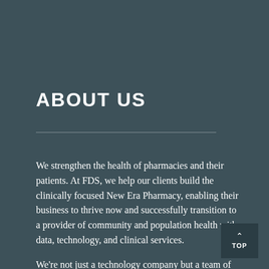ABOUT US
We strengthen the health of pharmacies and their patients. At FDS, we help our clients build the clinically focused New Era Pharmacy, enabling their business to thrive now and successfully transition to a provider of community and population health with data, technology, and clinical services.
We're not just a technology company but a team of